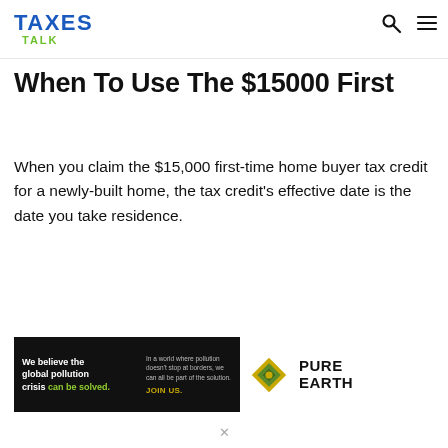TAXES TALK
When To Use The $15000 First
When you claim the $15,000 first-time home buyer tax credit for a newly-built home, the tax credit's effective date is the date you take residence.
[Figure (other): Advertisement banner for Pure Earth organization. Black left panel reads 'We believe the global pollution crisis can be solved.' with 'can be solved.' in green. Right panel text: 'In a world where pollution doesn't stop at borders, we can all be part of the solution. JOIN US.' Logo shows Pure Earth diamond-shaped emblem with text PURE EARTH.]